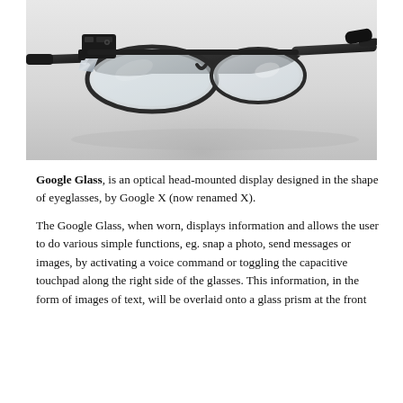[Figure (photo): A pair of Google Glass smart glasses with black frames, showing the small prism display module attached to the upper left of the frame, photographed on a white background.]
Google Glass, is an optical head-mounted display designed in the shape of eyeglasses, by Google X (now renamed X).
The Google Glass, when worn, displays information and allows the user to do various simple functions, eg. snap a photo, send messages or images, by activating a voice command or toggling the capacitive touchpad along the right side of the glasses. This information, in the form of images of text, will be overlaid onto a glass prism at the front